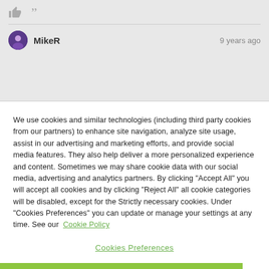[Figure (other): Thumbs up icon and quotation mark icon in gray on light gray background]
MikeR
9 years ago
We use cookies and similar technologies (including third party cookies from our partners) to enhance site navigation, analyze site usage, assist in our advertising and marketing efforts, and provide social media features. They also help deliver a more personalized experience and content. Sometimes we may share cookie data with our social media, advertising and analytics partners. By clicking "Accept All" you will accept all cookies and by clicking "Reject All" all cookie categories will be disabled, except for the Strictly necessary cookies. Under "Cookies Preferences" you can update or manage your settings at any time. See our Cookie Policy
Cookies Preferences
Reject All